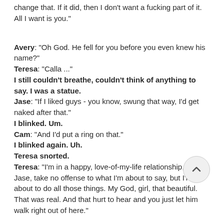change that.  If it did, then I don't want a fucking part of it.  All I want is you."
Avery: "Oh God.  He fell for you before you even knew his name?"
Teresa: "Calla ..."
I still couldn't breathe, couldn't think of anything to say.  I was a statue.
Jase: "If I liked guys - you know, swung that way, I'd get naked after that."
I blinked.  Um.
Cam: "And I'd put a ring on that."
I blinked again.  Uh.
Teresa snorted.
Teresa: "I'm in a happy, love-of-my-life relationship, so Jase, take no offense to what I'm about to say, but I'm about to do all those things.  My God, girl, that [was] beautiful.  That was real.  And that hurt to hear and you just let him walk right out of here."